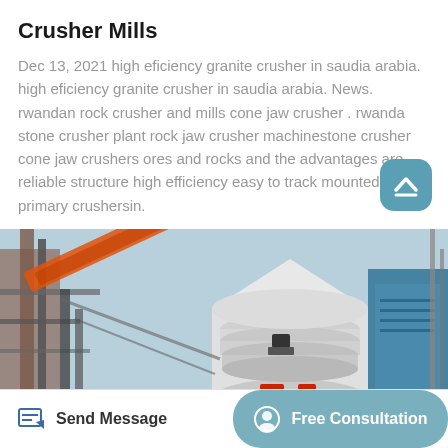Crusher Mills
Dec 13, 2021 high eficiency granite crusher in saudia arabia. high eficiency granite crusher in saudia arabia. News. rwandan rock crusher and mills cone jaw crusher . rwanda stone crusher plant rock jaw crusher machinestone crusher cone jaw crushers ores and rocks and the advantages are reliable structure high efficiency easy to track mounted primary crushersin.
[Figure (photo): Industrial crusher mill machinery with large cylindrical grinding towers, metal framework, conveyor belts and a blue industrial building, photographed outdoors against a sky background.]
Send Message
Free Consultation